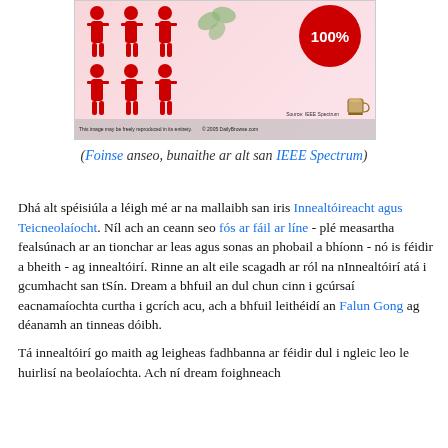[Figure (infographic): Infographic showing red human figures against a pink background with a dark red circle labeled '100%'. Bottom bar reads 'This image may be freely reproduced in its entirety.' with 'Source: IEEE Spectrum' and '© 2005 DailyBrowse.com' and a coffee cup icon.]
(Foinse anseo, bunaithe ar alt san IEEE Spectrum)
Dhá alt spéisiúla a léigh mé ar na mallaibh san iris Innealtóireacht agus Teicneolaíocht. Níl ach an ceann seo fós ar fáil ar líne - plé measartha fealsúnach ar an tionchar ar leas agus sonas an phobail a bhíonn - nó is féidir a bheith - ag innealtóirí. Rinne an alt eile scagadh ar ról na nInnealtóirí atá i gcumhacht san tSín. Dream a bhfuil an dul chun cinn i gcúrsaí eacnamaíochta curtha i gcrích acu, ach a bhfuil leithéidí an Falun Gong ag déanamh an tinneas dóibh.
Tá innealtóirí go maith ag leigheas fadhbanna ar féidir dul i ngleic leo le huirlisí na beolaíochta. Ach ní dream foighneach...